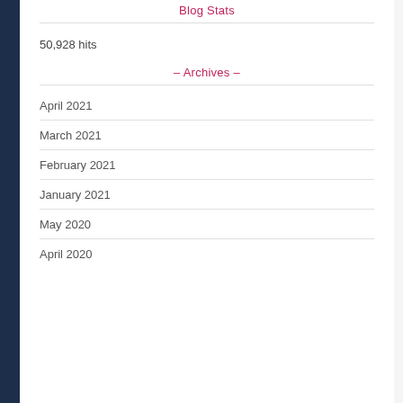Blog Stats
50,928 hits
– Archives –
April 2021
March 2021
February 2021
January 2021
May 2020
April 2020